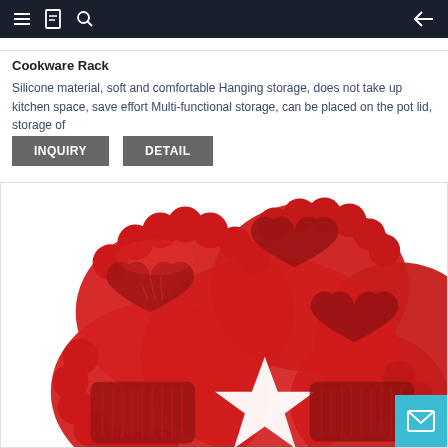Navigation bar with menu, bookmark, search, and back icons
Cookware Rack
Silicone material, soft and comfortable Hanging storage, does not take up kitchen space, save effort Multi-functional storage, can be placed on the pot lid, storage of
INQUIRY
DETAIL
[Figure (photo): Red silicone baking mold with multiple shapes including hearts, stars, and rectangular cavities viewed from above at an angle]